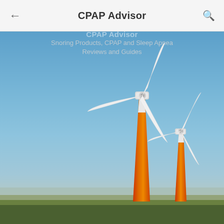CPAP Advisor
CPAP Advisor
Snoring Products, CPAP and Sleep Apnea Reviews and Guides
[Figure (photo): Photo of two wind turbines with red/orange and white towers against a clear blue sky, with flat green farmland in the foreground. Two large turbines dominate the center and right of the frame.]